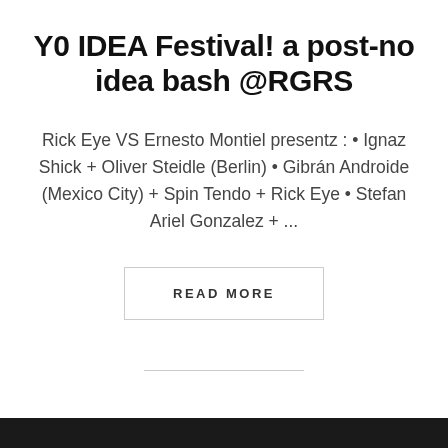Y0 IDEA Festival! a post-no idea bash @RGRS
Rick Eye VS Ernesto Montiel presentz : • Ignaz Shick + Oliver Steidle (Berlin) • Gibrán Androide (Mexico City) + Spin Tendo + Rick Eye • Stefan Ariel Gonzalez + ...